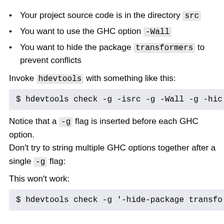Your project source code is in the directory src
You want to use the GHC option -Wall
You want to hide the package transformers to prevent conflicts
Invoke hdevtools with something like this:
$ hdevtools check -g -isrc -g -Wall -g -hic
Notice that a -g flag is inserted before each GHC option. Don't try to string multiple GHC options together after a single -g flag:
This won't work:
$ hdevtools check -g '-hide-package transfo